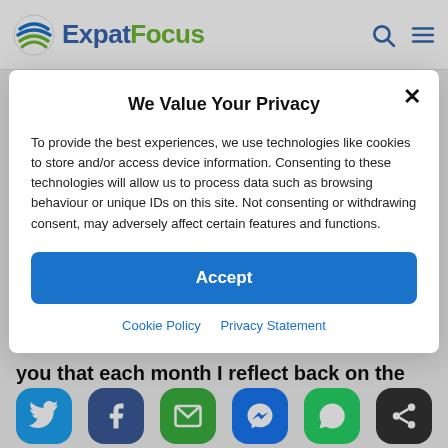[Figure (logo): ExpatFocus logo with globe icon, blue 'Expat' and green 'Focus' text, plus search and menu icons on the right]
We Value Your Privacy
To provide the best experiences, we use technologies like cookies to store and/or access device information. Consenting to these technologies will allow us to process data such as browsing behaviour or unique IDs on this site. Not consenting or withdrawing consent, may adversely affect certain features and functions.
Accept
Cookie Policy   Privacy Statement
you that each month I reflect back on the previous one, which in this case is March
[Figure (infographic): Social sharing buttons row: Twitter (blue), Facebook (dark blue), Email (green), Messenger (blue), WhatsApp (green), Share (dark grey)]